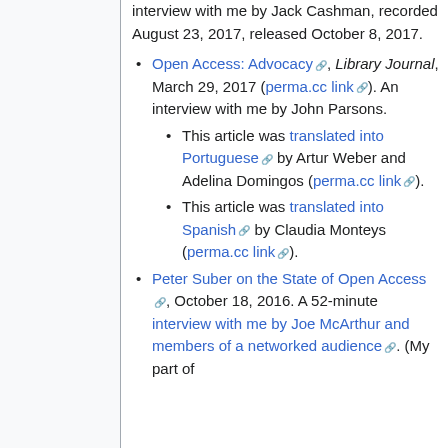interview with me by Jack Cashman, recorded August 23, 2017, released October 8, 2017.
Open Access: Advocacy, Library Journal, March 29, 2017 (perma.cc link). An interview with me by John Parsons.
This article was translated into Portuguese by Artur Weber and Adelina Domingos (perma.cc link).
This article was translated into Spanish by Claudia Monteys (perma.cc link).
Peter Suber on the State of Open Access, October 18, 2016. A 52-minute interview with me by Joe McArthur and members of a networked audience. (My part of